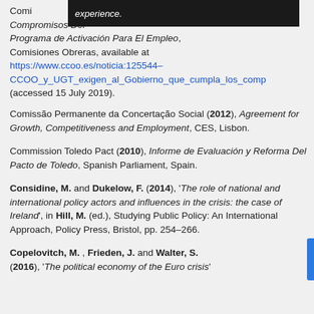experience.
Comisiones Obreras and CCOO y UGT, al Gobierno Que Cumpla Los Compromisos Del Programa de Activación Para El Empleo, Comisiones Obreras, available at https://www.ccoo.es/noticia:125544–CCOO_y_UGT_exigen_al_Gobierno_que_cumpla_los_comp (accessed 15 July 2019).
Comissão Permanente da Concertação Social (2012), Agreement for Growth, Competitiveness and Employment, CES, Lisbon.
Commission Toledo Pact (2010), Informe de Evaluación y Reforma Del Pacto de Toledo, Spanish Parliament, Spain.
Considine, M. and Dukelow, F. (2014), 'The role of national and international policy actors and influences in the crisis: the case of Ireland', in Hill, M. (ed.), Studying Public Policy: An International Approach, Policy Press, Bristol, pp. 254–266.
Copelovitch, M. , Frieden, J. and Walter, S. (2016), 'The political economy of the Euro crisis'.